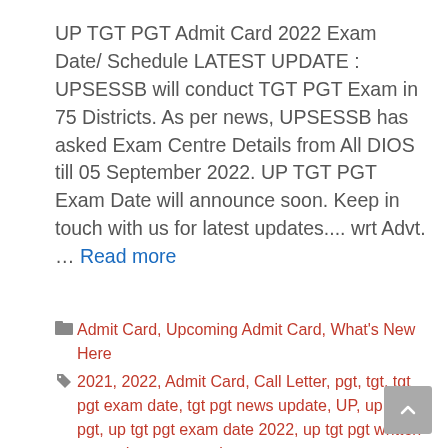UP TGT PGT Admit Card 2022 Exam Date/ Schedule LATEST UPDATE : UPSESSB will conduct TGT PGT Exam in 75 Districts. As per news, UPSESSB has asked Exam Centre Details from All DIOS till 05 September 2022. UP TGT PGT Exam Date will announce soon. Keep in touch with us for latest updates.... wrt Advt. … Read more
Categories: Admit Card, Upcoming Admit Card, What's New Here
Tags: 2021, 2022, Admit Card, Call Letter, pgt, tgt, tgt pgt exam date, tgt pgt news update, UP, up tgt pgt, up tgt pgt exam date 2022, up tgt pgt written exam dates, upsessb tgt pgt
182 Comments